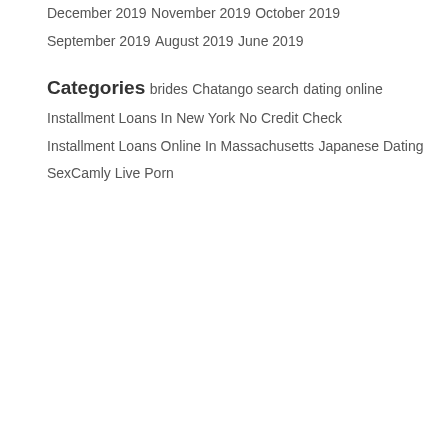December 2019
November 2019
October 2019
September 2019
August 2019
June 2019
Categories
brides
Chatango search
dating online
Installment Loans In New York No Credit Check
Installment Loans Online In Massachusetts
Japanese Dating
SexCamly Live Porn